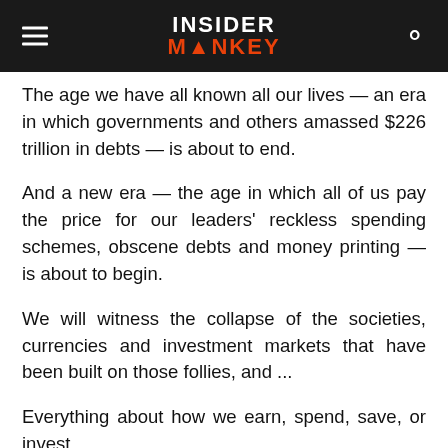INSIDER MONKEY
The age we have all known all our lives — an era in which governments and others amassed $226 trillion in debts — is about to end.
And a new era — the age in which all of us pay the price for our leaders' reckless spending schemes, obscene debts and money printing — is about to begin.
We will witness the collapse of the societies, currencies and investment markets that have been built on those follies, and ...
Everything about how we earn, spend, save, or invest